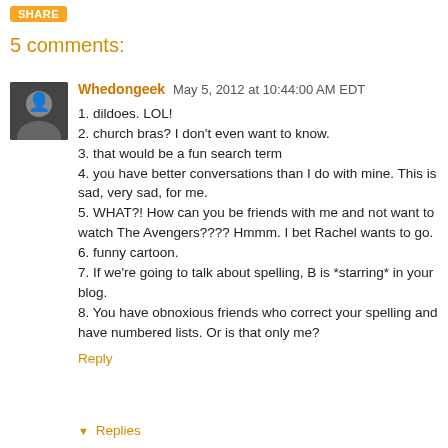[Figure (other): Orange Share button at top left]
5 comments:
[Figure (photo): User avatar/profile photo of Whedongeek, a person in a dark shirt]
Whedongeek May 5, 2012 at 10:44:00 AM EDT
1. dildoes. LOL!
2. church bras? I don't even want to know.
3. that would be a fun search term
4. you have better conversations than I do with mine. This is sad, very sad, for me.
5. WHAT?! How can you be friends with me and not want to watch The Avengers???? Hmmm. I bet Rachel wants to go.
6. funny cartoon.
7. If we're going to talk about spelling, B is *starring* in your blog.
8. You have obnoxious friends who correct your spelling and have numbered lists. Or is that only me?
Reply
▼ Replies